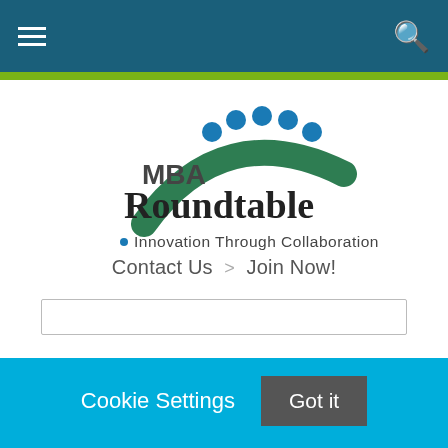MBA Roundtable navigation bar with hamburger menu and search icon
[Figure (logo): MBA Roundtable logo: green arch with blue dots above, text 'MBA Roundtable • Innovation Through Collaboration']
Contact Us  >  Join Now!
Cookie Settings  Got it
We use cookies so that we can remember you and understand how you use our site. If you do not agree with our use of cookies, please change the current settings found in our Cookie Policy. Otherwise, you agree to the use of the cookies as they are currently set.